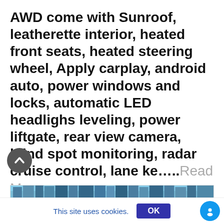AWD come with Sunroof, leatherette interior, heated front seats, heated steering wheel, Apply carplay, android auto, power windows and locks, automatic LED headlighs leveling, power liftgate, rear view camera, blind spot monitoring, radar cruise control, lane ke.....Read More
[Figure (photo): City skyline photo with blue sky and buildings]
This site uses cookies.